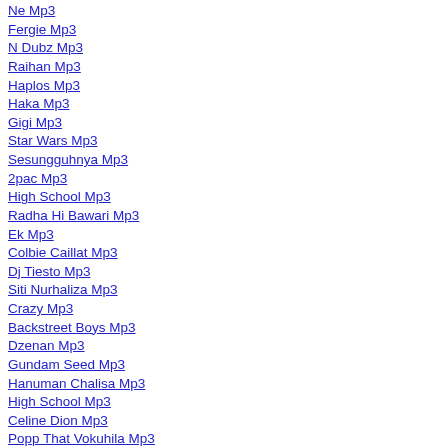Ne Mp3
Fergie Mp3
N Dubz Mp3
Raihan Mp3
Haplos Mp3
Haka Mp3
Gigi Mp3
Star Wars Mp3
Sesungguhnya Mp3
2pac Mp3
High School Mp3
Radha Hi Bawari Mp3
Ek Mp3
Colbie Caillat Mp3
Dj Tiesto Mp3
Siti Nurhaliza Mp3
Crazy Mp3
Backstreet Boys Mp3
Dzenan Mp3
Gundam Seed Mp3
Hanuman Chalisa Mp3
High School Mp3
Celine Dion Mp3
Popp That Vokuhila Mp3
Tamil Songs Mp3